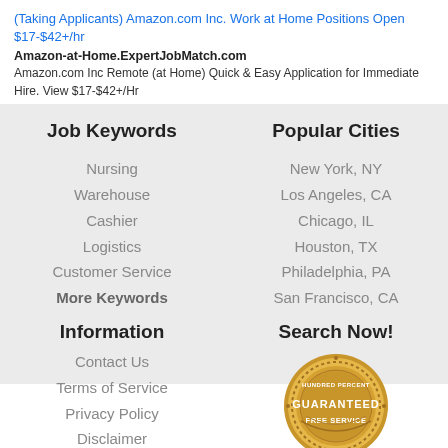(Taking Applicants) Amazon.com Inc. Work at Home Positions Open $17-$42+/hr
Amazon-at-Home.ExpertJobMatch.com
Amazon.com Inc Remote (at Home) Quick & Easy Application for Immediate Hire. View $17-$42+/Hr
Job Keywords
Nursing
Warehouse
Cashier
Logistics
Customer Service
More Keywords
Popular Cities
New York, NY
Los Angeles, CA
Chicago, IL
Houston, TX
Philadelphia, PA
San Francisco, CA
Information
Contact Us
Terms of Service
Privacy Policy
Disclaimer
Search Now!
[Figure (illustration): Gold badge seal with text 'HUNDRED PERCENT GUARANTEED FREE SERVICE']